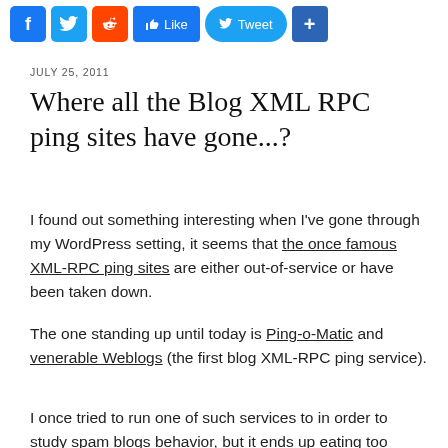[Figure (screenshot): Social sharing toolbar with Facebook, Twitter, Reddit icons, Like button, Tweet button, and Share (+) button]
JULY 25, 2011
Where all the Blog XML RPC ping sites have gone...?
I found out something interesting when I've gone through my WordPress setting, it seems that the once famous XML-RPC ping sites are either out-of-service or have been taken down.
The one standing up until today is Ping-o-Matic and venerable Weblogs (the first blog XML-RPC ping service).
I once tried to run one of such services to in order to study spam blogs behavior, but it ends up eating too